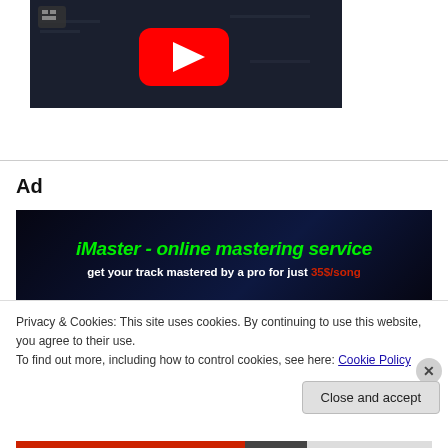[Figure (screenshot): YouTube video thumbnail with dark background and red play button]
Ad
[Figure (infographic): iMaster online mastering service advertisement banner with green bold text on dark background reading: iMaster - online mastering service. get your track mastered by a pro for just 35$/song]
Privacy & Cookies: This site uses cookies. By continuing to use this website, you agree to their use.
To find out more, including how to control cookies, see here: Cookie Policy
Close and accept